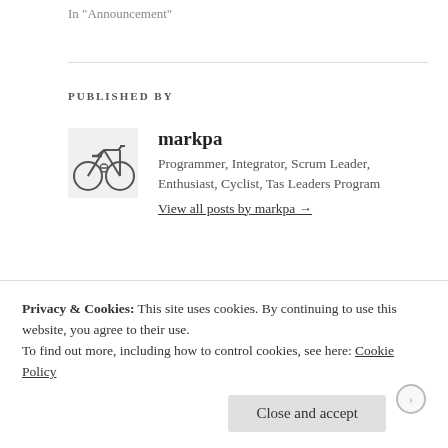In "Announcement"
PUBLISHED BY
[Figure (photo): Avatar image of a bicycle for user markpa]
markpa
Programmer, Integrator, Scrum Leader, Enthusiast, Cyclist, Tas Leaders Program
View all posts by markpa →
May 12, 2015   markpa   Announcement
Privacy & Cookies: This site uses cookies. By continuing to use this website, you agree to their use.
To find out more, including how to control cookies, see here: Cookie Policy
Close and accept